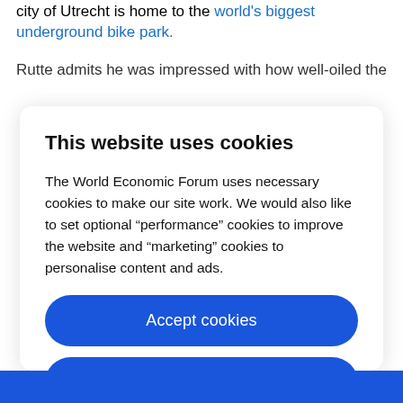city of Utrecht is home to the world's biggest underground bike park.
Rutte admits he was impressed with how well-oiled the
This website uses cookies
The World Economic Forum uses necessary cookies to make our site work. We would also like to set optional “performance” cookies to improve the website and “marketing” cookies to personalise content and ads.
Accept cookies
Reject cookies
Cookie settings